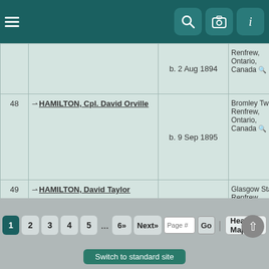[Figure (screenshot): Mobile app navigation bar with hamburger menu icon on left, and search, camera, info icon buttons on right, dark teal background]
| # | Name | Birth Date | Birthplace |
| --- | --- | --- | --- |
|  |  | b. 2 Aug 1894 | Renfrew, Ontario, Canada |
| 48 | HAMILTON, Cpl. David Orville | b. 9 Sep 1895 | Bromley Twp., Renfrew, Ontario, Canada |
| 49 | HAMILTON, David Taylor | b. 16 Apr 1873 | Glasgow Station, Renfrew, Ontario, Canada |
| 50 | HAMILTON, Donald Angus | b. 11 Dec 1933 | Bromley Twp., Renfrew, Ontario, Canada |
1 2 3 4 5 ... 6» Next» Page # Go | Heat Map
Switch to standard site